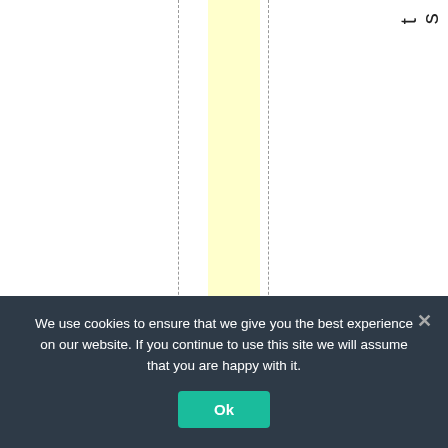[Figure (other): Page section showing a vertical yellow highlighted band with dashed border lines on either side, and vertical rotated text on the right reading 'symbolizeAmerica's' with letters stacked vertically]
We use cookies to ensure that we give you the best experience on our website. If you continue to use this site we will assume that you are happy with it.